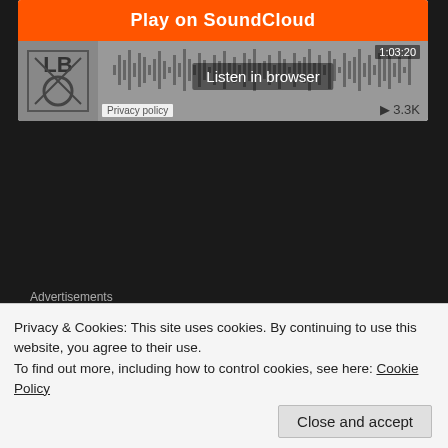[Figure (screenshot): SoundCloud embedded player with orange 'Play on SoundCloud' button, podcast artwork thumbnail, waveform visualization, 'Listen in browser' overlay, timestamp 1:03:20, play count 3.3K, and Privacy policy label]
Advertisements
[Figure (screenshot): Advertisement banner: 'ThePlatform Where WordPress Works Best' with Pressable logo on the right]
Join Us in Discord! http://bit.ly/LBdiscord
Join Us in WoW! https://goo.gl/f1XYnS
Join Us on Twitch! Twitch.tv/laggingballs Join Us for
Privacy & Cookies: This site uses cookies. By continuing to use this website, you agree to their use.
To find out more, including how to control cookies, see here: Cookie Policy
Close and accept